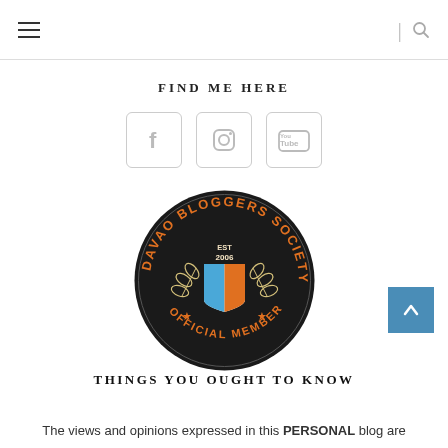≡  |  🔍
FIND ME HERE
[Figure (illustration): Three social media icons in rounded square boxes: Facebook (f), Instagram (camera), YouTube (You Tube)]
[Figure (logo): Davao Bloggers Society Official Member badge — circular black badge with orange text 'DAVAO BLOGGERS SOCIETY' around the top and 'OFFICIAL MEMBER' around the bottom, EST 2006 in center, with a shield logo in blue and orange and laurel wreaths, stars on either side]
THINGS YOU OUGHT TO KNOW
The views and opinions expressed in this PERSONAL blog are